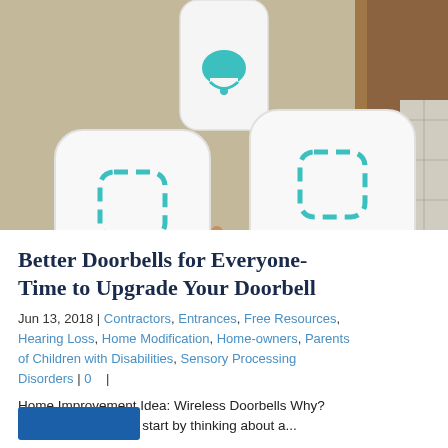[Figure (photo): Photo of wireless doorbell components: a white doorbell unit with teal bell icon mounted on wall, and two white button units with teal square icons, one being held by a hand, photographed outdoors near a door frame.]
Better Doorbells for Everyone- Time to Upgrade Your Doorbell
Jun 13, 2018 | Contractors, Entrances, Free Resources, Hearing Loss, Home Modification, Home-owners, Parents of Children with Disabilities, Sensory Processing Disorders | 0 |
Home Improvement Idea: Wireless Doorbells Why? Adaptable Use Let's start by thinking about a...